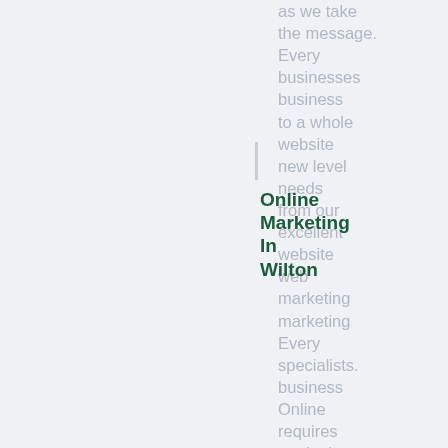as we take
the message.
Every
businesses
business
to a whole
website
new level
needs
from our
excellent
website
web
marketing
marketing
Every
specialists.
business
Online
requires
marketing
Online
is your
destination
and
for just
power
Earn
Online
more
marketing
customers
is here to
for your
Online
Marketing
Online
Marketing
In
Wilton
Online
Marketing
In
Wimbledon
Online
Marketing